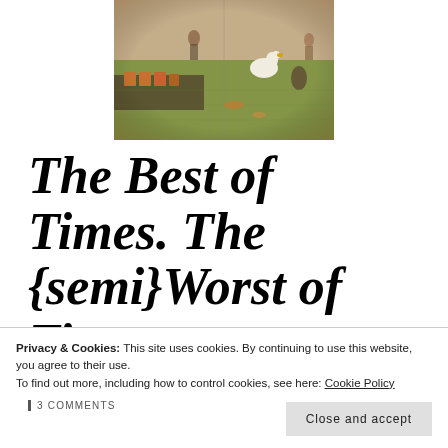[Figure (photo): Outdoor backyard scene with people, lawn, beer pong cups on a table, and animal lawn ornaments including a white goose. The image appears to have a warm, slightly faded Instagram-like filter.]
The Best of Times. The {semi}Worst of Times.
Privacy & Cookies: This site uses cookies. By continuing to use this website, you agree to their use. To find out more, including how to control cookies, see here: Cookie Policy
Close and accept
3 COMMENTS